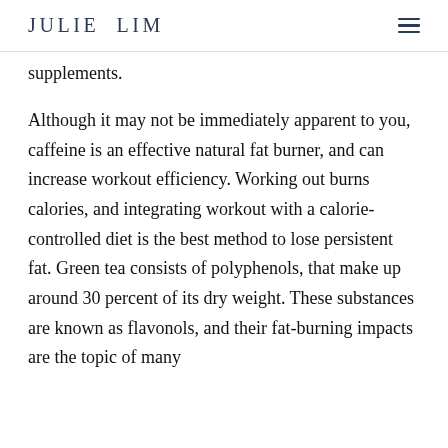JULIE LIM
supplements.
Although it may not be immediately apparent to you, caffeine is an effective natural fat burner, and can increase workout efficiency. Working out burns calories, and integrating workout with a calorie-controlled diet is the best method to lose persistent fat. Green tea consists of polyphenols, that make up around 30 percent of its dry weight. These substances are known as flavonols, and their fat-burning impacts are the topic of many